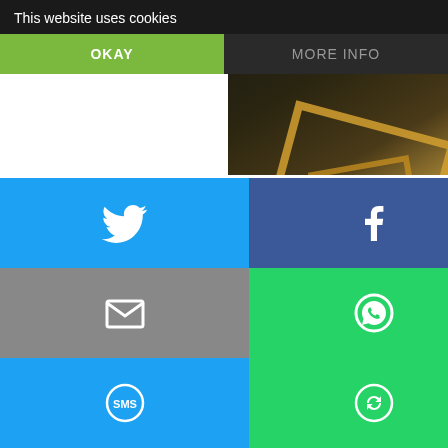This website uses cookies
OKAY
MORE INFO
[Figure (photo): Decorative background image with golden/wooden geometric shapes on dark background]
4. Organic fiber underwear. Remember the look on Ralphie's in the movie A Christmas Story Yeah. Natural fibers or no, the g get. Period. The Better Green Alternative? Getting a pair of o so va-va-voom that you can't open the gift in front of the kids. C
5. Carbon credits. This is the gift that says, “I couldn’t come u giving money to a company that normally plants trees whether b your name.” The Better Green Alternative? How about just giv diamond t not s out lou family ation. It n the fla d you h
[Figure (screenshot): Social media sharing buttons overlay with Twitter, Facebook, Email, WhatsApp, SMS, and Share icons]